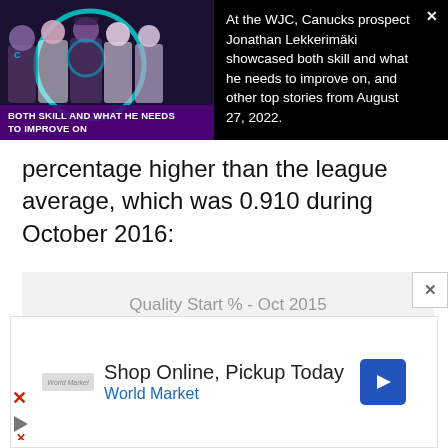[Figure (screenshot): News video thumbnail showing group of people in a TV studio with purple/dark background, with text overlay 'BOTH SKILL AND WHAT HE NEEDS TO IMPROVE ON']
At the WJC, Canucks prospect Jonathan Lekkerimäki showcased both skill and what he needs to improve on, and other top stories from August 27, 2022.
percentage higher than the league average, which was 0.910 during October 2016:
[Figure (bar-chart): Quality Start % - Oct 2015]
[Figure (screenshot): Advertisement: Shop Online, Pickup Today - World Market, with navigation arrow icon]